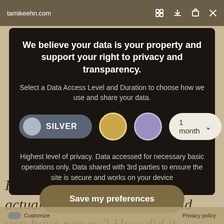tamikeehn.com
We believe your data is your property and support your right to privacy and transparency.
Select a Data Access Level and Duration to choose how we use and share your data.
[Figure (screenshot): Privacy consent modal with Silver data access level selected, gold and purple circle options, and a 1 month duration dropdown]
Highest level of privacy. Data accessed for necessary basic operations only. Data shared with 3rd parties to ensure the site is secure and works on your device
Save my preferences
How ... e actual session experience? Did you have nerves? How did it
Customize   Privacy policy